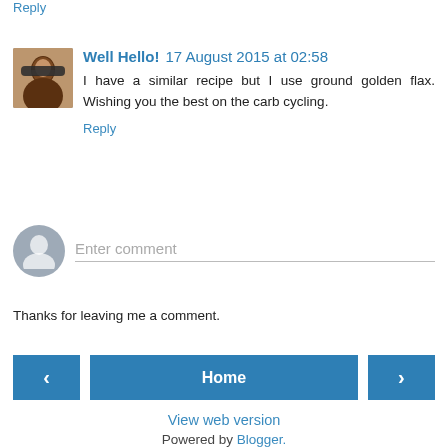Reply
Well Hello!  17 August 2015 at 02:58
I have a similar recipe but I use ground golden flax. Wishing you the best on the carb cycling.
Reply
Enter comment
Thanks for leaving me a comment.
< Home >
View web version
Powered by Blogger.